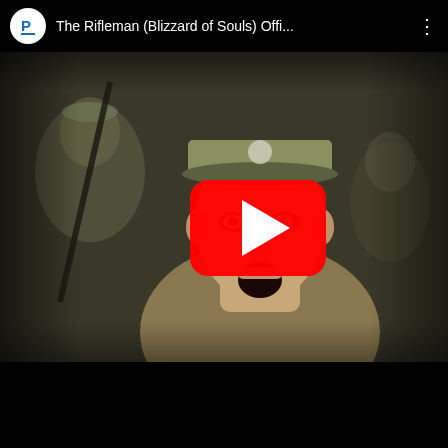[Figure (screenshot): YouTube video embed screenshot showing a video titled 'The Rifleman (Blizzard of Souls) Offi...' with a channel icon (letter P with underline in a circle) on a black header bar with a three-dot menu icon. The video thumbnail shows a young soldier in WWI-era uniform and cap with his mouth open, another soldier visible behind him, and a red YouTube play button overlay in the center. Below the thumbnail is a black control bar area.]